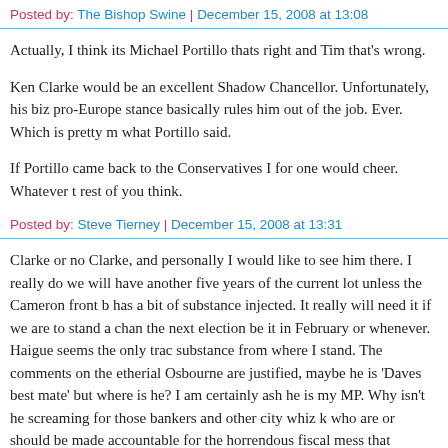Posted by: The Bishop Swine | December 15, 2008 at 13:08
Actually, I think its Michael Portillo thats right and Tim that's wrong.
Ken Clarke would be an excellent Shadow Chancellor. Unfortunately, his biz pro-Europe stance basically rules him out of the job. Ever. Which is pretty m what Portillo said.
If Portillo came back to the Conservatives I for one would cheer. Whatever t rest of you think.
Posted by: Steve Tierney | December 15, 2008 at 13:31
Clarke or no Clarke, and personally I would like to see him there. I really do we will have another five years of the current lot unless the Cameron front b has a bit of substance injected. It really will need it if we are to stand a chan the next election be it in February or whenever. Haigue seems the only trac substance from where I stand. The comments on the etherial Osbourne are justified, maybe he is 'Daves best mate' but where is he? I am certainly ash he is my MP. Why isn't he screaming for those bankers and other city whiz k who are or should be made accountable for the horrendous fiscal mess that Osbourne, amongst others, have allowed to creep up on us while they slept.